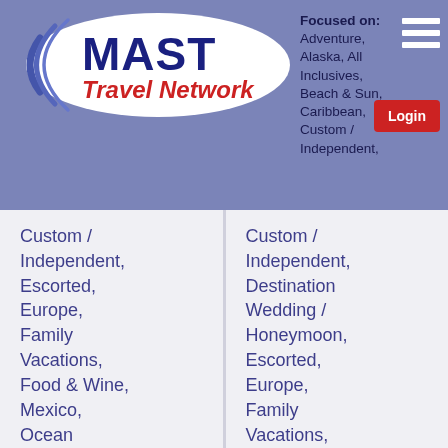[Figure (logo): MAST Travel Network logo — blue oval swoosh with 'MAST' in bold dark blue and 'Travel Network' in red italic lettering]
Focused on: Adventure, Alaska, All Inclusives, Beach & Sun, Caribbean, Custom / Independent, Destination Wedding / Honeymoon, Escorted, Europe, Family Vacations, Hawaii, Mexico, Ocean Cruises, River Cruises, Spa/Wellness, USA/Canada
Custom / Independent, Escorted, Europe, Family Vacations, Food & Wine, Mexico, Ocean Cruises, River Cruises, USA/Canada
Custom / Independent, Destination Wedding / Honeymoon, Escorted, Europe, Family Vacations, Hawaii, Mexico, Ocean Cruises, River Cruises, Spa/Wellness, USA/Canada